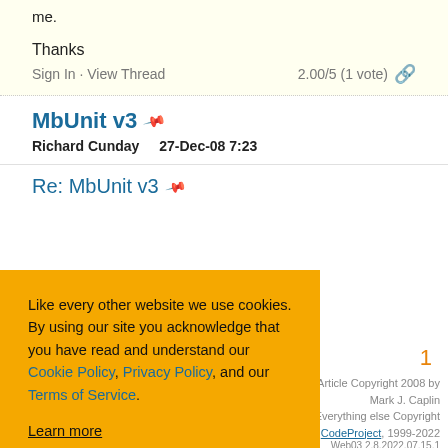me.
Thanks
Sign In · View Thread    2.00/5 (1 vote)  🔗
MbUnit v3
Richard Cunday    27-Dec-08 7:23
Re: MbUnit v3
Like every other website we use cookies. By using our site you acknowledge that you have read and understand our Cookie Policy, Privacy Policy, and our Terms of Service. Learn more
Ask me later   Decline   Allow cookies
1
Article Copyright 2008 by Mark J. Caplin
Everything else Copyright CodeProject, 1999-2022
Web03 2.8.2022.07.15.1